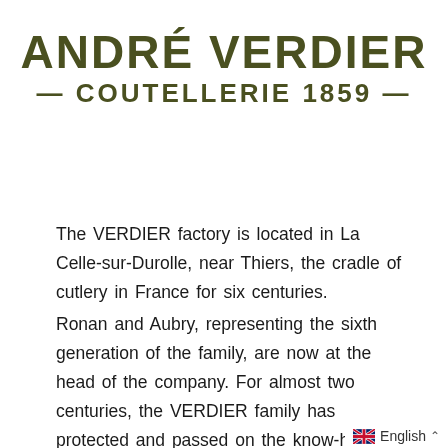ANDRÉ VERDIER — COUTELLERIE 1859 —
The VERDIER factory is located in La Celle-sur-Durolle, near Thiers, the cradle of cutlery in France for six centuries.
Ronan and Aubry, representing the sixth generation of the family, are now at the head of the company. For almost two centuries, the VERDIER family has protected and passed on the know-how of cutlery while innovating. This exceptional level of expertise enables it to offer the most comprehensive range of pro…
English ^